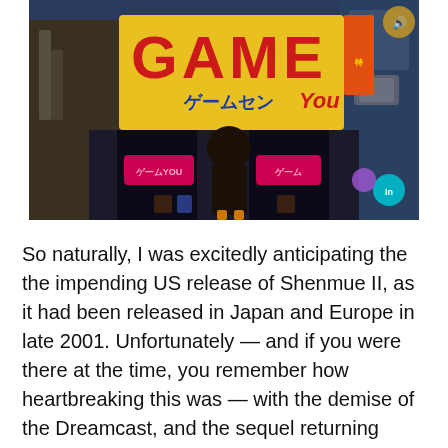[Figure (screenshot): Screenshot from a video game showing a character standing in front of a Japanese arcade with a large yellow sign reading 'GAME ゲームセン You' in red block letters with Japanese text below.]
So naturally, I was excitedly anticipating the the impending US release of Shenmue II, as it had been released in Japan and Europe in late 2001. Unfortunately — and if you were there at the time, you remember how heartbreaking this was — with the demise of the Dreamcast, and the sequel returning substantially lower sales figures than the original, Sega finally broke down and had to announce to a disappointed